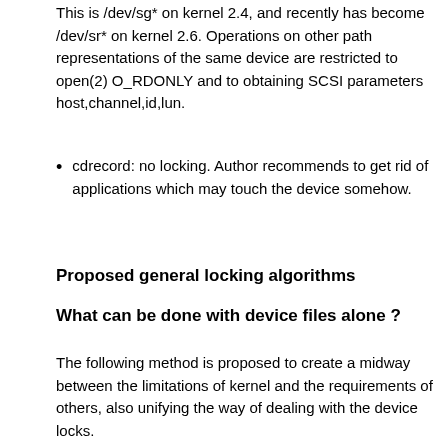This is /dev/sg* on kernel 2.4, and recently has become /dev/sr* on kernel 2.6. Operations on other path representations of the same device are restricted to open(2) O_RDONLY and to obtaining SCSI parameters host,channel,id,lun.
cdrecord: no locking. Author recommends to get rid of applications which may touch the device somehow.
Proposed general locking algorithms
What can be done with device files alone ?
The following method is proposed to create a midway between the limitations of kernel and the requirements of others, also unifying the way of dealing with the device locks.